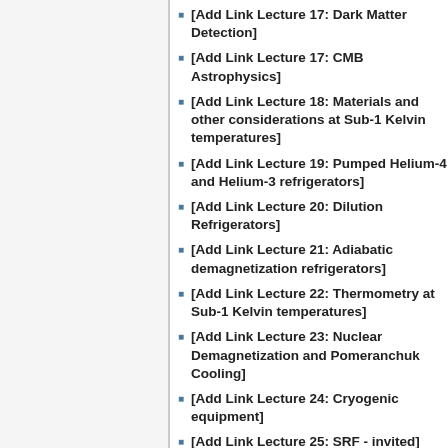[Add Link Lecture 17: Dark Matter Detection]
[Add Link Lecture 17: CMB Astrophysics]
[Add Link Lecture 18: Materials and other considerations at Sub-1 Kelvin temperatures]
[Add Link Lecture 19: Pumped Helium-4 and Helium-3 refrigerators]
[Add Link Lecture 20: Dilution Refrigerators]
[Add Link Lecture 21: Adiabatic demagnetization refrigerators]
[Add Link Lecture 22: Thermometry at Sub-1 Kelvin temperatures]
[Add Link Lecture 23: Nuclear Demagnetization and Pomeranchuk Cooling]
[Add Link Lecture 24: Cryogenic equipment]
[Add Link Lecture 25: SRF - invited]
[Add Link Lecture 26: SRF - invited]
[Add Link Lecture 27: Cryostat design]